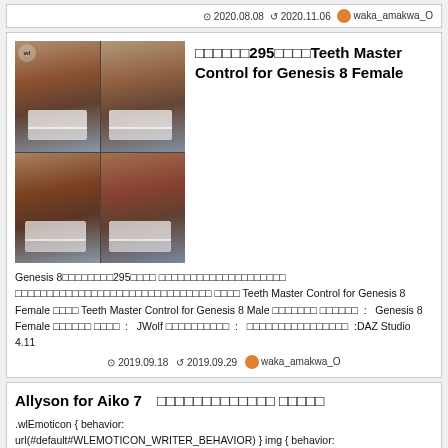⊙ 2020.08.08  ↺ 2020.11.06  waka_amakwa_O
□□□□□□295□□□□Teeth Master Control for Genesis 8 Female
[Figure (photo): 4-panel grid of 3D rendered open mouths showing teeth from different angles]
Genesis 8□□□□□□□□295□□□□ □□□□□□□□□□□□□□□□□□□□ □□□□□□□□□□□□□□□□□□□□□□□□□□□□□□□ □□□□ Teeth Master Control for Genesis 8 Female □□□□ Teeth Master Control for Genesis 8 Male □□□□□□□ □□□□□□  :  Genesis 8 Female □□□□□□ □□□□  :   JWolf □□□□□□□□□□  :   □□□□□□□□□□□□□□□□  :DAZ Studio 4.11
⊙ 2019.09.18  ↺ 2019.09.29  waka_amakwa_O
Allyson for Aiko 7　□□□□□□□□□□□□□ □□□□□
.wlEmoticon { behavior: url(#default#WLEMOTICON_WRITER_BEHAVIOR) } img { behavior: